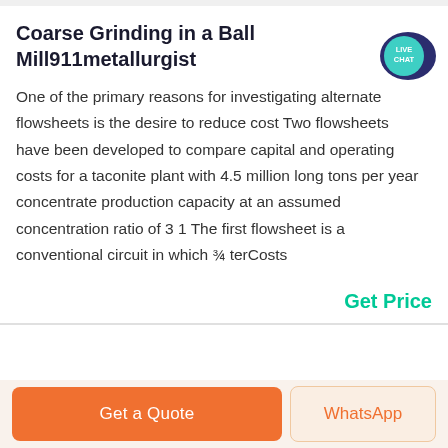Coarse Grinding in a Ball Mill911metallurgist
One of the primary reasons for investigating alternate flowsheets is the desire to reduce cost Two flowsheets have been developed to compare capital and operating costs for a taconite plant with 4.5 million long tons per year concentrate production capacity at an assumed concentration ratio of 3 1 The first flowsheet is a conventional circuit in which ¾ terCosts
[Figure (other): Live Chat speech bubble badge in teal/dark navy colors with text LIVE CHAT]
Get Price
Get a Quote
WhatsApp